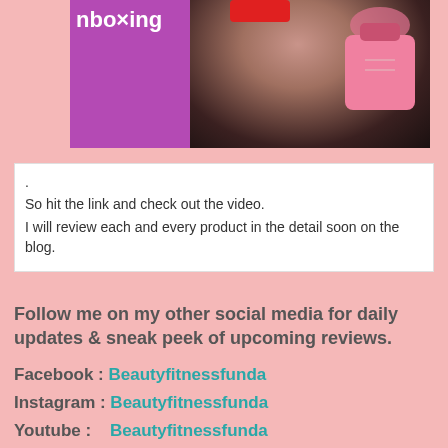[Figure (photo): Partial image showing 'nboxing' text on a purple/magenta panel on the left, and a woman's face with dark hair holding a pink satin bag on the right, against a black background. A red overlay is visible at the top center.]
.
So hit the link and check out the video.
I will review each and every product in the detail soon on the blog.
Follow me on my other social media for daily updates & sneak peek of upcoming reviews.

Facebook : Beautyfitnessfunda
Instagram : Beautyfitnessfunda
Youtube :    Beautyfitnessfunda
Twitter       : Dipika_BFF